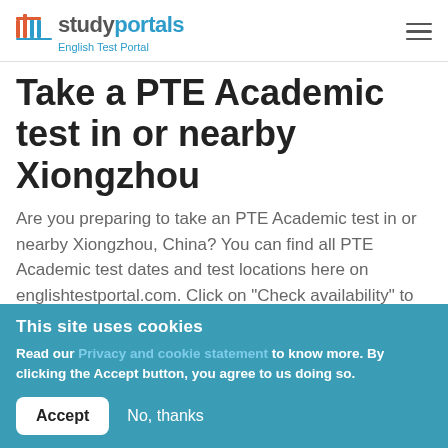studyportals — English Test Portal
Take a PTE Academic test in or nearby Xiongzhou
Are you preparing to take an PTE Academic test in or nearby Xiongzhou, China? You can find all PTE Academic test dates and test locations here on englishtestportal.com. Click on "Check availability" to
This site uses cookies
Read our Privacy and cookie statement to know more. By clicking the Accept button, you agree to us doing so.
Accept   No, thanks